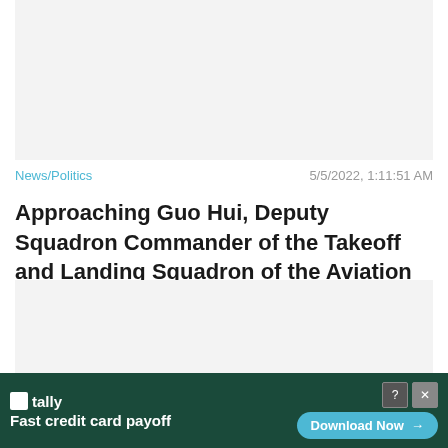[Figure (photo): Top image placeholder area with light gray background]
News/Politics
5/5/2022, 1:11:51 AM
Approaching Guo Hui, Deputy Squadron Commander of the Takeoff and Landing Squadron of the Aviation Department of the Navy Liaoning Ship
[Figure (photo): Large bottom image placeholder area with light gray background and Close X button]
[Figure (screenshot): Advertisement bar: Tally - Fast credit card payoff, Download Now button]